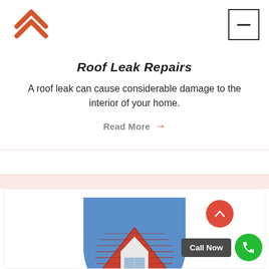[Figure (logo): Orange/red double chevron house-roof logo icon]
[Figure (illustration): Hamburger menu button (square with a single horizontal bar)]
Roof Leak Repairs
A roof leak can cause considerable damage to the interior of your home.
Read More →
[Figure (photo): Circular cropped photo of a red-tiled roof peak with white dormer and blue sky background, inside a blue circle. A red scroll-up button and a green phone/call button labeled 'Call Now' are overlaid on the right side.]